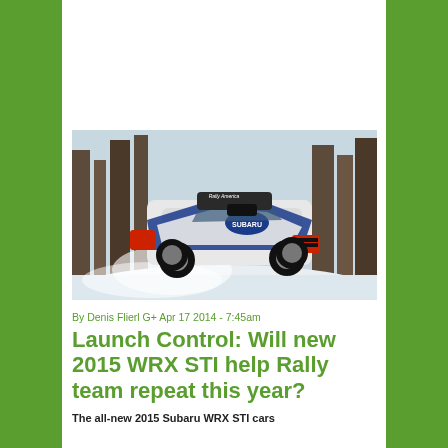[Figure (photo): A Subaru WRX STI rally car with blue and white livery jumping on a snow-covered forest road, with snow spray visible]
By Denis Flierl G+ Apr 17 2014 - 7:45am
Launch Control: Will new 2015 WRX STI help Rally team repeat this year?
The all-new 2015 Subaru WRX STI cars